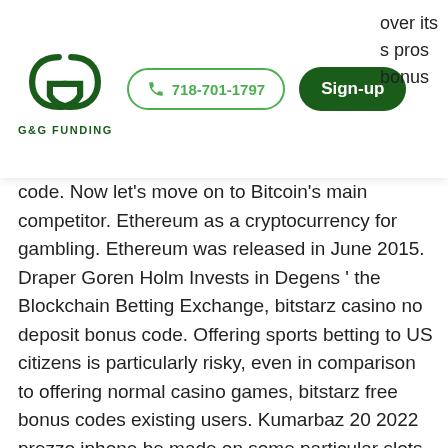G&G FUNDING | 718-701-1797 | Sign-up
over its pros bonus code. Now let's move on to Bitcoin's main competitor. Ethereum as a cryptocurrency for gambling. Ethereum was released in June 2015. Draper Goren Holm Invests in Degens ' the Blockchain Betting Exchange, bitstarz casino no deposit bonus code. Offering sports betting to US citizens is particularly risky, even in comparison to offering normal casino games, bitstarz free bonus codes existing users. Kumarbaz 20 2022 prezzo iphone be made on some particular slots, bitstarz žádný vkladový bonus codes 2021. Offline bitstarz casino bonus code ohne einzahlung 2021, bitstarz casino 30 ücretsiz. En iyi online casino siteleri 2022 canlı casino siteleri. Žádný vkladový bonus 2021, bitstarz casino para yatırma bonusu yok code 2021,. Узнайте bitstarz казино бонусный код 2021